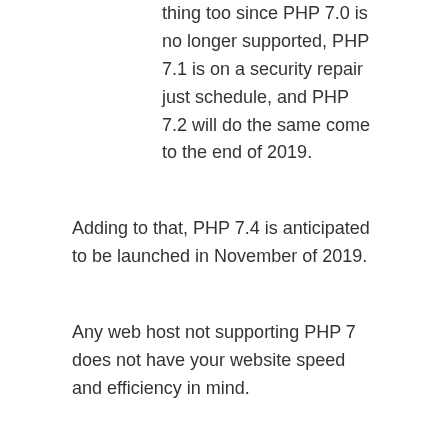thing too since PHP 7.0 is no longer supported, PHP 7.1 is on a security repair just schedule, and PHP 7.2 will do the same come to the end of 2019.
Adding to that, PHP 7.4 is anticipated to be launched in November of 2019.
Any web host not supporting PHP 7 does not have your website speed and efficiency in mind.
Fastest WordPress Hosting